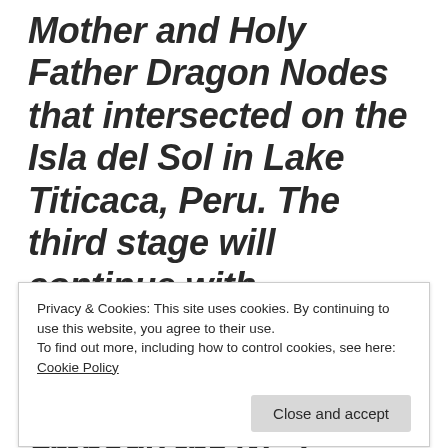Mother and Holy Father Dragon Nodes that intersected on the Isla del Sol in Lake Titicaca, Peru. The third stage will continue with Melchizedek's hierogamic reunion, which is yet to be discovered. We have been introduced to our Beloved hierogamic couple in the form of Metatron and Meritaten, anointed
Privacy & Cookies: This site uses cookies. By continuing to use this website, you agree to their use.
To find out more, including how to control cookies, see here: Cookie Policy
Close and accept
MeriTAten awaken to embody the